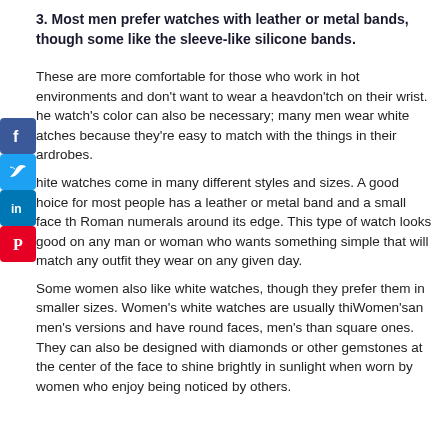3. Most men prefer watches with leather or metal bands, though some like the sleeve-like silicone bands.
These are more comfortable for those who work in hot environments and don't want to wear a heavdon'tch on their wrist. he watch's color can also be necessary; many men wear white atches because they're easy to match with the things in their ardrobes.
hite watches come in many different styles and sizes. A good hoice for most people has a leather or metal band and a small face th Roman numerals around its edge. This type of watch looks good on any man or woman who wants something simple that will match any outfit they wear on any given day.
Some women also like white watches, though they prefer them in smaller sizes. Women's white watches are usually thiWomen'san men's versions and have round faces, men's than square ones. They can also be designed with diamonds or other gemstones at the center of the face to shine brightly in sunlight when worn by women who enjoy being noticed by others.
[Figure (infographic): Social media share buttons sidebar: Facebook (blue), Twitter (light blue), LinkedIn (dark blue), Pinterest (red)]